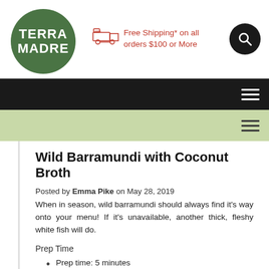Terra Madre — Free Shipping* on all orders $100 or More
Wild Barramundi with Coconut Broth
Posted by Emma Pike on May 28, 2019
When in season, wild barramundi should always find it's way onto your menu! If it's unavailable, another thick, fleshy white fish will do.
Prep Time
Prep time: 5 minutes
Cook time: 25 minutes
Yield: Serves 4
Ingredients